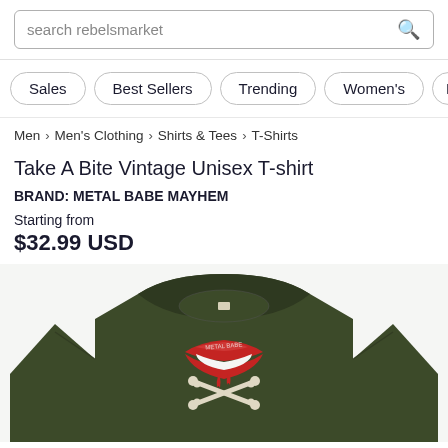search rebelsmarket
Sales
Best Sellers
Trending
Women's
Men's
Men > Men's Clothing > Shirts & Tees > T-Shirts
Take A Bite Vintage Unisex T-shirt
BRAND: METAL BABE MAYHEM
Starting from
$32.99 USD
[Figure (photo): Dark olive green vintage unisex t-shirt with a graphic of red lips biting a crossbone, Metal Babe Mayhem branding]